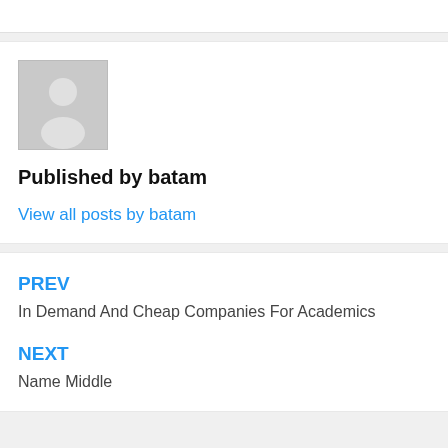[Figure (photo): Default avatar/placeholder person silhouette image in gray]
Published by batam
View all posts by batam
PREV
In Demand And Cheap Companies For Academics
NEXT
Name Middle